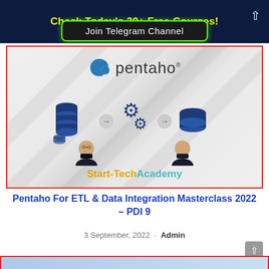Check Today's 30+ Free Courses!
Join Telegram Channel
[Figure (infographic): Pentaho course thumbnail showing Pentaho logo, ETL diagram with stacked database icons, gear icons, and single database icon connected by arrows, with two instructor portraits above Start-Tech Academy branding]
Pentaho For ETL & Data Integration Masterclass 2022 – PDI 9
3 September, 2022 · Admin